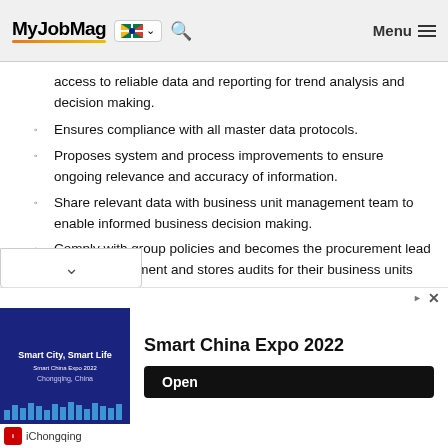MyJobMag [South Africa flag] [search] Menu
access to reliable data and reporting for trend analysis and decision making.
Ensures compliance with all master data protocols.
Proposes system and process improvements to ensure ongoing relevance and accuracy of information.
Share relevant data with business unit management team to enable informed business decision making.
Comply with group policies and becomes the procurement lead about procurement and stores audits for their business units
Team Leadership
[Figure (screenshot): Advertisement banner for Smart China Expo 2022 by iChongqing with an Open button]